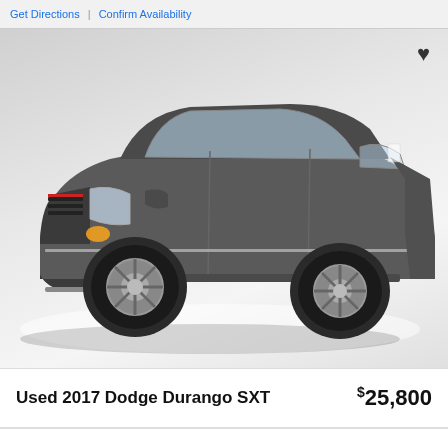Get Directions | Confirm Availability
[Figure (photo): Photo of a gray 2017 Dodge Durango SXT SUV parked at a slight angle, showing the front and passenger side. The vehicle is dark gray/charcoal in color with chrome accents and alloy wheels. A heart/favorite icon appears in the top-right corner of the image.]
Used 2017 Dodge Durango SXT  $25,800